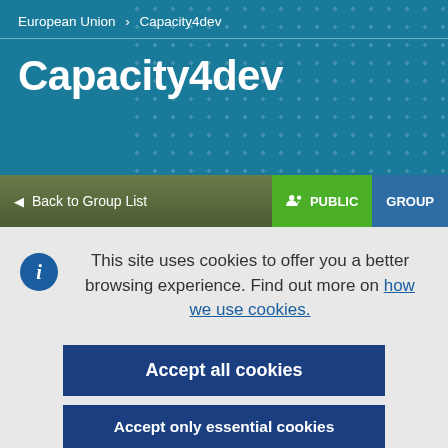European Union > Capacity4dev
Capacity4dev
Back to Group List | PUBLIC GROUP
This site uses cookies to offer you a better browsing experience. Find out more on how we use cookies.
Accept all cookies
Accept only essential cookies